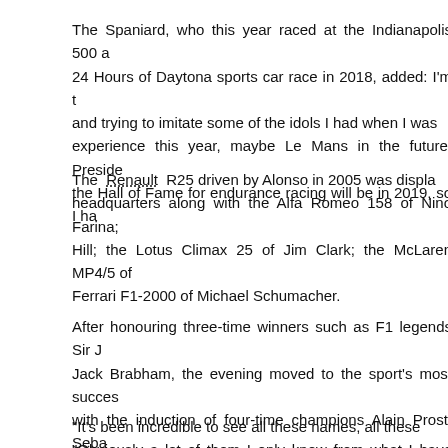The Spaniard, who this year raced at the Indianapolis 500 and the 24 Hours of Daytona sports car race in 2018, added: I'm trying and trying to imitate some of the idols I had when I was young, experience this year, maybe Le Mans in the future. President of the Hall of Fame for endurance racing will be in 2019, so I ha...
The Renault R25 driven by Alonso in 2005 was displayed at headquarters along with the Alfa Romeo 158 of Nino Farina; Hill; the Lotus Climax 25 of Jim Clark; the McLaren MP4/5 of Ferrari F1-2000 of Michael Schumacher.
After honouring three-time winners such as F1 legends Sir Jack Brabham, the evening moved to the sport's most successful with the induction of four-time champions Alain Prost, Seba Hamilton and then five-time winner Juan Manuel Fangio.
"It's been incredible to see all these names, all these "Obviously a lot of them I only know from what I have read, think it's a great idea. There's so much history in the sports thanks to events like tonight's, we'll keep it like that. I love older you change your way of thinking and I think your appr definitely for things like tonight grows."